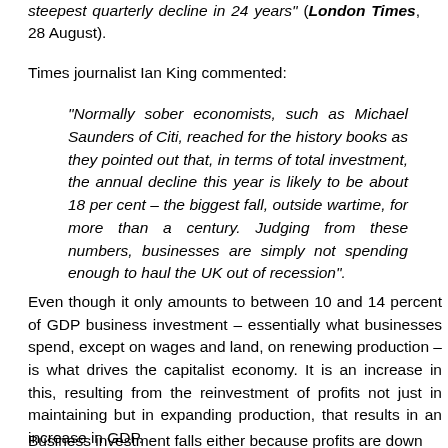steepest quarterly decline in 24 years" (London Times, 28 August).
Times journalist Ian King commented:
“Normally sober economists, such as Michael Saunders of Citi, reached for the history books as they pointed out that, in terms of total investment, the annual decline this year is likely to be about 18 per cent – the biggest fall, outside wartime, for more than a century. Judging from these numbers, businesses are simply not spending enough to haul the UK out of recession”.
Even though it only amounts to between 10 and 14 percent of GDP business investment – essentially what businesses spend, except on wages and land, on renewing production – is what drives the capitalist economy. It is an increase in this, resulting from the reinvestment of profits not just in maintaining but in expanding production, that results in an increase in GDP.
Business investment falls either because profits are down